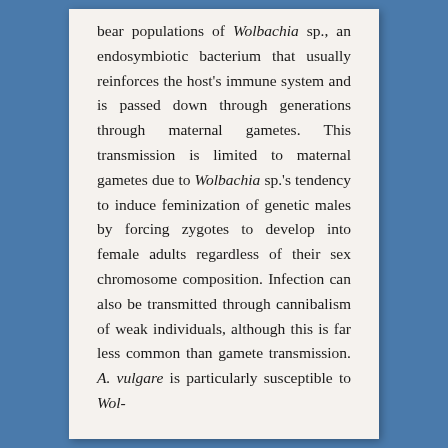bear populations of Wolbachia sp., an endosymbiotic bacterium that usually reinforces the host's immune system and is passed down through generations through maternal gametes. This transmission is limited to maternal gametes due to Wolbachia sp.'s tendency to induce feminization of genetic males by forcing zygotes to develop into female adults regardless of their sex chromosome composition. Infection can also be transmitted through cannibalism of weak individuals, although this is far less common than gamete transmission. A. vulgare is particularly susceptible to Wol-